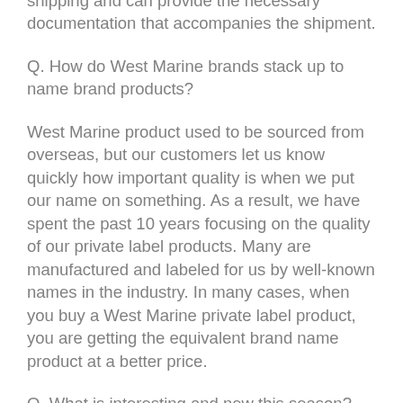we are trained in the nuances of international shipping and can provide the necessary documentation that accompanies the shipment.
Q. How do West Marine brands stack up to name brand products?
West Marine product used to be sourced from overseas, but our customers let us know quickly how important quality is when we put our name on something. As a result, we have spent the past 10 years focusing on the quality of our private label products. Many are manufactured and labeled for us by well-known names in the industry. In many cases, when you buy a West Marine private label product, you are getting the equivalent brand name product at a better price.
Q. What is interesting and new this season?
For me, it is the continued development of electronic navigation. Many of the manufacturers continue to evolve integrated systems to be easier and more efficient. We are almost at the point one can operate a